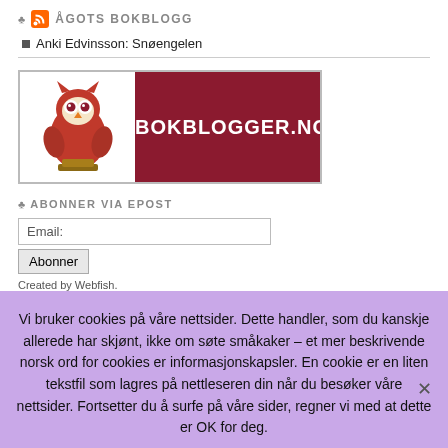♣ ÅGOTS BOKBLOGG
Anki Edvinsson: Snøengelen
[Figure (logo): Bokblogger.no banner with an owl mascot on the left and the text BOKBLOGGER.NO on a dark red background on the right]
♣ ABONNER VIA EPOST
Email: [input field] Abonner
Created by Webfish.
Vi bruker cookies på våre nettsider. Dette handler, som du kanskje allerede har skjønt, ikke om søte småkaker – et mer beskrivende norsk ord for cookies er informasjonskapsler. En cookie er en liten tekstfil som lagres på nettleseren din når du besøker våre nettsider. Fortsetter du å surfe på våre sider, regner vi med at dette er OK for deg.
Ok